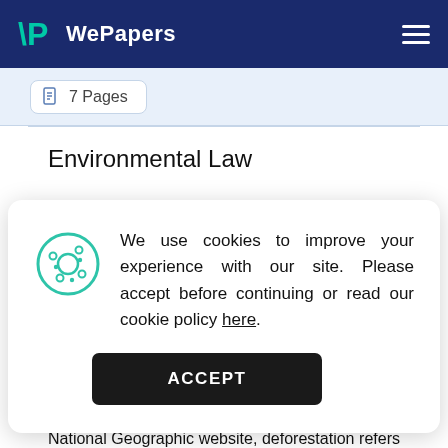WePapers
7 Pages
Environmental Law
We use cookies to improve your experience with our site. Please accept before continuing or read our cookie policy here.
ACCEPT
National Geographic website, deforestation refers to the clearing of the forests on a substantial scale that may result in the destruction of the quality of the land area in a